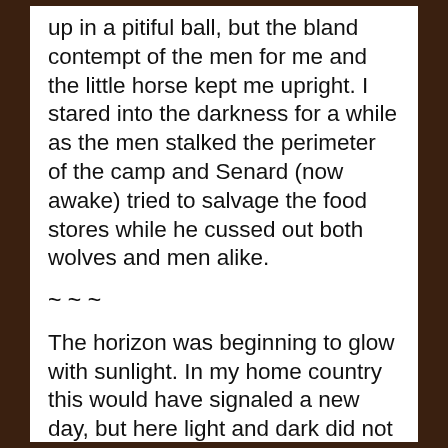up in a pitiful ball, but the bland contempt of the men for me and the little horse kept me upright. I stared into the darkness for a while as the men stalked the perimeter of the camp and Senard (now awake) tried to salvage the food stores while he cussed out both wolves and men alike.
~ ~ ~
The horizon was beginning to glow with sunlight. In my home country this would have signaled a new day, but here light and dark did not always mark the start of a calendar day. I pondered this as I stood in the silent meadow, looking out over the dewy grass and trying not to feel the pain of losing the filly. I should be happy to simply be here, as it was not a privilege many received. For my family though,